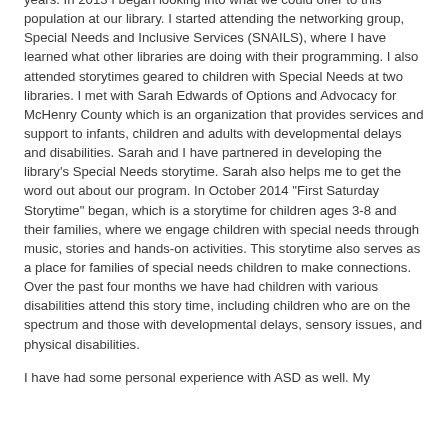years. In 2013 I began looking into what we could offer to this population at our library. I started attending the networking group, Special Needs and Inclusive Services (SNAILS), where I have learned what other libraries are doing with their programming. I also attended storytimes geared to children with Special Needs at two libraries. I met with Sarah Edwards of Options and Advocacy for McHenry County which is an organization that provides services and support to infants, children and adults with developmental delays and disabilities. Sarah and I have partnered in developing the library's Special Needs storytime. Sarah also helps me to get the word out about our program. In October 2014 "First Saturday Storytime" began, which is a storytime for children ages 3-8 and their families, where we engage children with special needs through music, stories and hands-on activities. This storytime also serves as a place for families of special needs children to make connections. Over the past four months we have had children with various disabilities attend this story time, including children who are on the spectrum and those with developmental delays, sensory issues, and physical disabilities.
I have had some personal experience with ASD as well. My